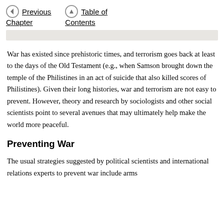Previous Chapter   Table of Contents
War has existed since prehistoric times, and terrorism goes back at least to the days of the Old Testament (e.g., when Samson brought down the temple of the Philistines in an act of suicide that also killed scores of Philistines). Given their long histories, war and terrorism are not easy to prevent. However, theory and research by sociologists and other social scientists point to several avenues that may ultimately help make the world more peaceful.
Preventing War
The usual strategies suggested by political scientists and international relations experts to prevent war include arms